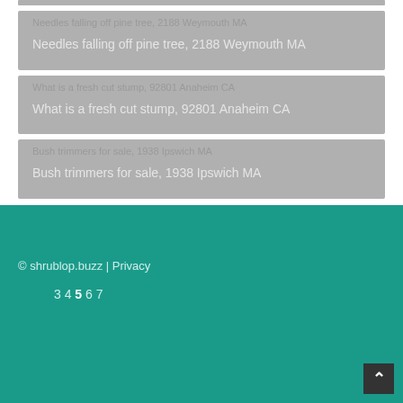Needles falling off pine tree, 2188 Weymouth MA
What is a fresh cut stump, 92801 Anaheim CA
Bush trimmers for sale, 1938 Ipswich MA
© shrublop.buzz | Privacy
3 4 5 6 7